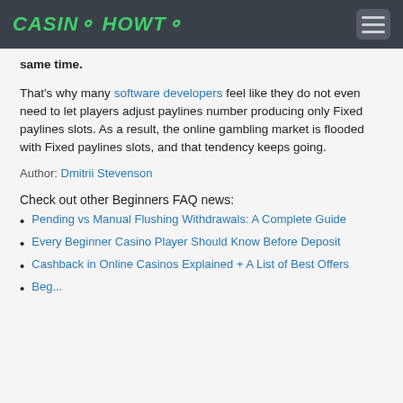CASINO HOWTO
same time.
That's why many software developers feel like they do not even need to let players adjust paylines number producing only Fixed paylines slots. As a result, the online gambling market is flooded with Fixed paylines slots, and that tendency keeps going.
Author: Dmitrii Stevenson
Check out other Beginners FAQ news:
Pending vs Manual Flushing Withdrawals: A Complete Guide
Every Beginner Casino Player Should Know Before Deposit
Cashback in Online Casinos Explained + A List of Best Offers
Beginning Withdrawal Tips in Online Casino